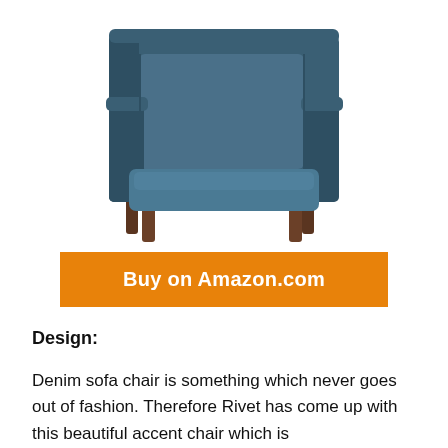[Figure (photo): A denim blue accent chair with mid-century modern design, featuring a boxy upholstered seat and back in dark teal/denim fabric, with four tapered dark walnut wooden legs. The chair is shown on a white background from a slightly elevated front-angle view.]
Buy on Amazon.com
Design:
Denim sofa chair is something which never goes out of fashion. Therefore Rivet has come up with this beautiful accent chair which is